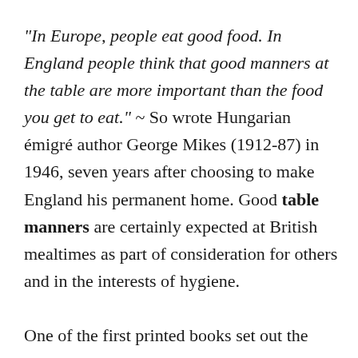“In Europe, people eat good food. In England people think that good manners at the table are more important than the food you get to eat.” ~ So wrote Hungarian émigré author George Mikes (1912-87) in 1946, seven years after choosing to make England his permanent home. Good table manners are certainly expected at British mealtimes as part of consideration for others and in the interests of hygiene.
One of the first printed books set out the